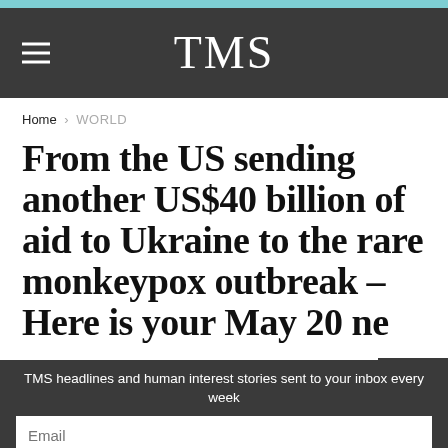TMS
Home > WORLD
From the US sending another US$40 billion of aid to Ukraine to the rare monkeypox outbreak – Here is your May 20 ne
TMS headlines and human interest stories sent to your inbox every week
Email
Join the community